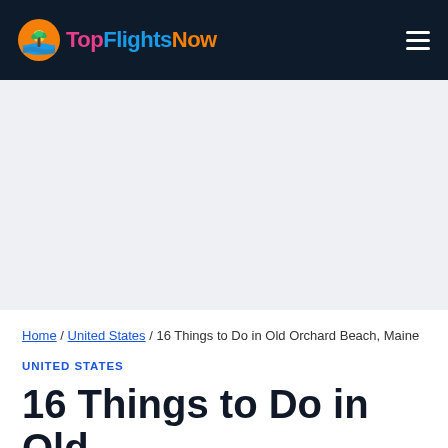TopFlightsNow
[Figure (other): Advertisement / placeholder area with light gray background]
Home / United States / 16 Things to Do in Old Orchard Beach, Maine
UNITED STATES
16 Things to Do in Old